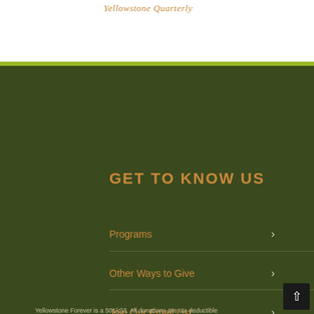Yellowstone Quarterly
GET TO KNOW US
Programs
Other Ways to Give
Join Our Email List
DONATE
Yellowstone Forever is a 501(c)3. All donations are tax deductible